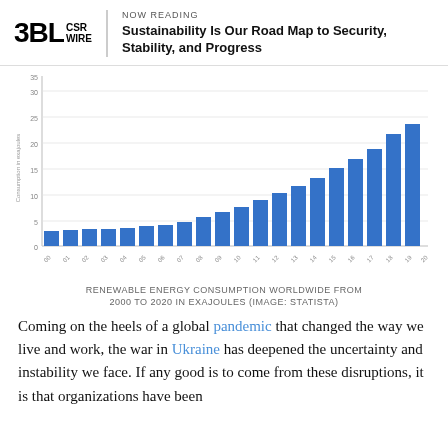3BL CSR WIRE | NOW READING: Sustainability Is Our Road Map to Security, Stability, and Progress
[Figure (bar-chart): Renewable Energy Consumption Worldwide from 2000 to 2020 in Exajoules (Image: Statista)]
RENEWABLE ENERGY CONSUMPTION WORLDWIDE FROM 2000 TO 2020 IN EXAJOULES (IMAGE: STATISTA)
Coming on the heels of a global pandemic that changed the way we live and work, the war in Ukraine has deepened the uncertainty and instability we face. If any good is to come from these disruptions, it is that organizations have been